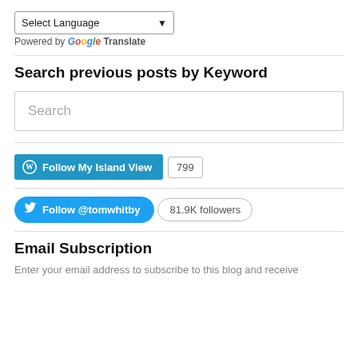[Figure (screenshot): Language selector dropdown showing 'Select Language' with a downward arrow]
Powered by Google Translate
Search previous posts by Keyword
[Figure (screenshot): Search input box with placeholder text 'Search']
[Figure (screenshot): WordPress Follow My Island View button with count 799]
[Figure (screenshot): Twitter Follow @tomwhitby button with 81.9K followers]
Email Subscription
Enter your email address to subscribe to this blog and receive